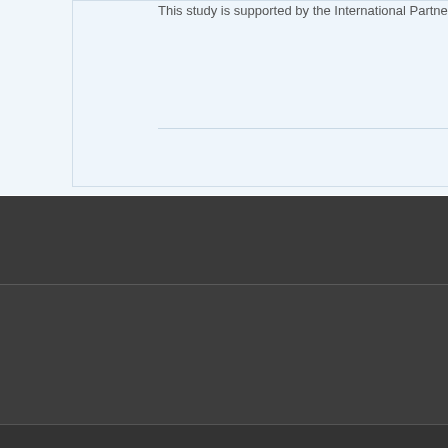This study is supported by the International Partnersh...
DALIAN INSTIT
Welcome
Opportunities
Education
Campus Map
Contact
Copyright 1999-2020. Dalian I